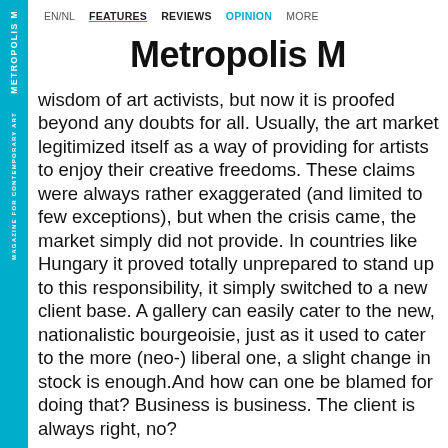EN/NL  FEATURES  REVIEWS  OPINION  MORE
Metropolis M
wisdom of art activists, but now it is proofed beyond any doubts for all. Usually, the art market legitimized itself as a way of providing for artists to enjoy their creative freedoms. These claims were always rather exaggerated (and limited to few exceptions), but when the crisis came, the market simply did not provide. In countries like Hungary it proved totally unprepared to stand up to this responsibility, it simply switched to a new client base. A gallery can easily cater to the new, nationalistic bourgeoisie, just as it used to cater to the more (neo-) liberal one, a slight change in stock is enough.And how can one be blamed for doing that? Business is business. The client is always right, no?